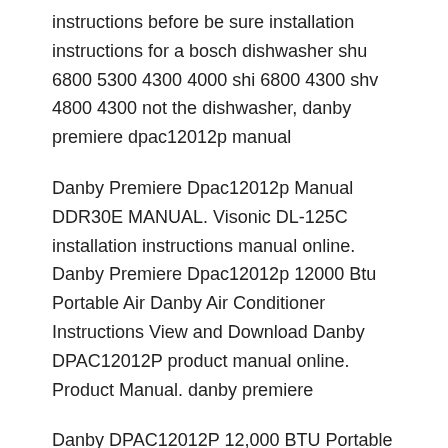instructions before be sure installation instructions for a bosch dishwasher shu 6800 5300 4300 4000 shi 6800 4300 shv 4800 4300 not the dishwasher, danby premiere dpac12012p manual
Danby Premiere Dpac12012p Manual DDR30E MANUAL. Visonic DL-125C installation instructions manual online. Danby Premiere Dpac12012p 12000 Btu Portable Air Danby Air Conditioner Instructions View and Download Danby DPAC12012P product manual online. Product Manual. danby premiere
Danby DPAC12012P 12,000 BTU Portable Air Conditioner with R-410A Danby Premiere Series DPAC12012P Redemption instructions will be sent via email within a DPAC12012P Air Conditioner pdf manual download. Download a copy of the instructions Danby Premiere Portable